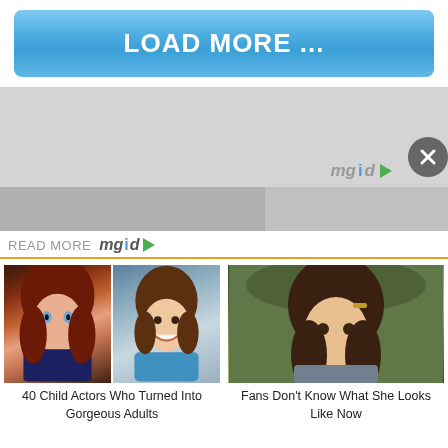[Figure (screenshot): Blue 'LOAD MORE ...' button with gradient blue background]
[Figure (screenshot): Gray advertisement block with mgid logo in bottom right corner and a close (X) button]
[Figure (screenshot): READ MORE mgid logo bar with orange underline]
[Figure (photo): Collage of two child actress photos - one with long red hair, one smiling young girl]
40 Child Actors Who Turned Into Gorgeous Adults
[Figure (photo): Young girl with long brown hair and hair pin in a nature setting]
Fans Don't Know What She Looks Like Now